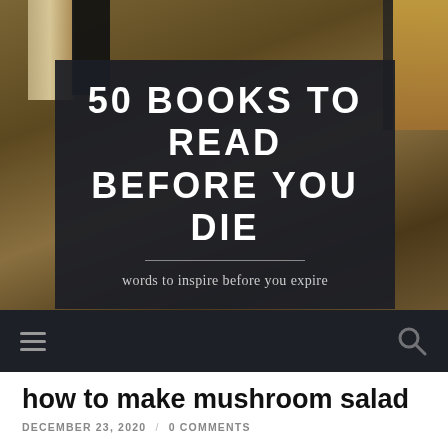[Figure (photo): Website header banner showing a background photo of books on a shelf/table with warm brownish tones. A dark semi-transparent overlay contains the site title '50 BOOKS TO READ BEFORE YOU DIE' in large bold white uppercase letters, a horizontal divider line, and the tagline 'words to inspire before you expire' in lighter smaller text.]
50 BOOKS TO READ BEFORE YOU DIE
words to inspire before you expire
≡  🔍
how to make mushroom salad
DECEMBER 23, 2020 / 0 COMMENTS
Make creamy, juicy pasta without adding cheese and cream. SERVES: 4. Take a large mixing bowl and mix mushrooms, red bell pepper, basil or â | UNITS: US. 1